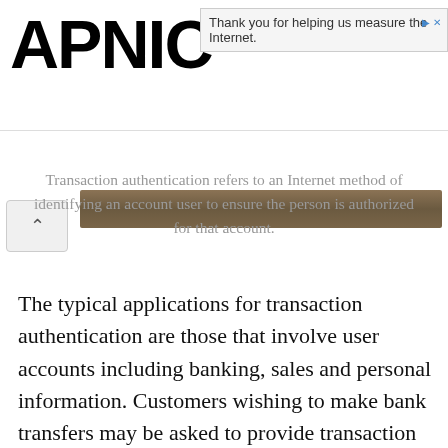APNIC — Thank you for helping us measure the Internet.
[Figure (photo): Partial photo strip visible at the top, showing a brown/wood-toned image, with a collapse/chevron button on the left.]
Transaction authentication refers to an Internet method of identifying an account user to ensure the person is authorized for that account.
The typical applications for transaction authentication are those that involve user accounts including banking, sales and personal information. Customers wishing to make bank transfers may be asked to provide transaction authentication numbers (TAN) or to re-enter the original information used to log in at the beginning of the session. Certain sales websites also use this process